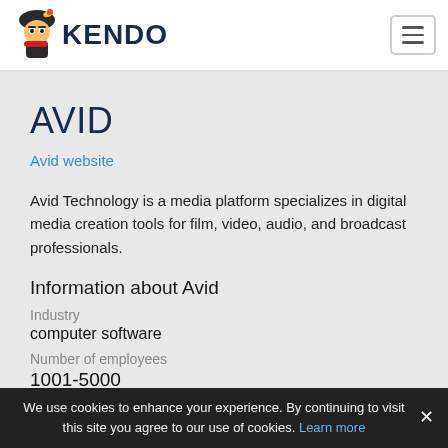KENDO
AVID
Avid website
Avid Technology is a media platform specializes in digital media creation tools for film, video, audio, and broadcast professionals.
Information about Avid
Industry
computer software
Number of employees
1001-5000
We use cookies to enhance your experience. By continuing to visit this site you agree to our use of cookies. Learn more